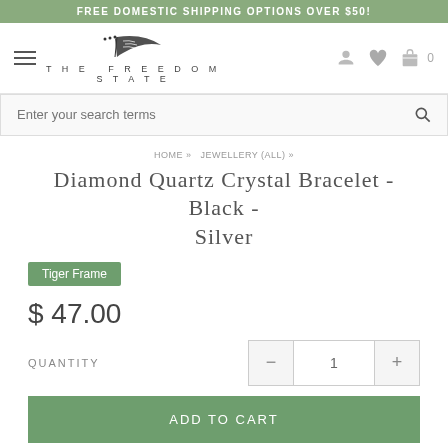FREE DOMESTIC SHIPPING OPTIONS OVER $50!
[Figure (logo): The Freedom State logo with feather graphic and text]
Enter your search terms
HOME » JEWELLERY (ALL) »
Diamond Quartz Crystal Bracelet - Black - Silver
Tiger Frame
$ 47.00
QUANTITY
ADD TO CART